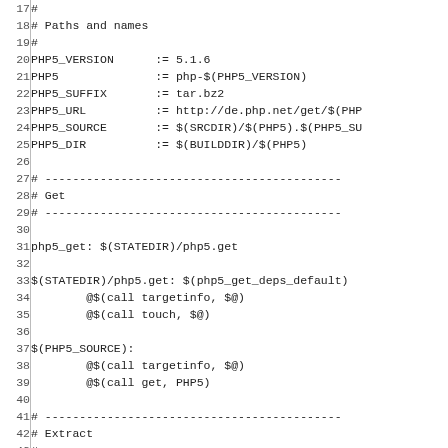Code listing lines 17-46: PHP5 Makefile snippet showing Paths and names section (PHP5_VERSION, PHP5, PHP5_SUFFIX, PHP5_URL, PHP5_SOURCE, PHP5_DIR), Get section (php5_get target, $(STATEDIR)/php5.get rule, $(PHP5_SOURCE) rule), and Extract section (php5_extract target).